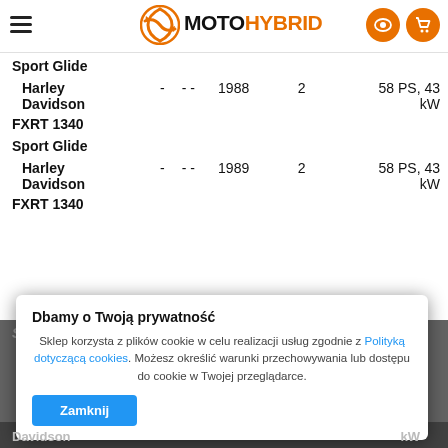[Figure (logo): MotoHybrid website header with hamburger menu, orange circular logo, MOTOHYBRID text logo, and orange icon buttons]
| Brand |  |  | Year | Cyl | Power |
| --- | --- | --- | --- | --- | --- |
| Sport Glide |  |  |  |  |  |
| Harley Davidson FXRT 1340 Sport Glide | - | - - | 1988 | 2 | 58 PS, 43 kW |
| Sport Glide |  |  |  |  |  |
| Harley Davidson FXRT 1340 Sport Glide | - | - - | 1989 | 2 | 58 PS, 43 kW |
Dbamy o Twoją prywatność
Sklep korzysta z plików cookie w celu realizacji usług zgodnie z Polityką dotyczącą cookies. Możesz określić warunki przechowywania lub dostępu do cookie w Twojej przeglądarce.
Zamknij
Davidson ... kW